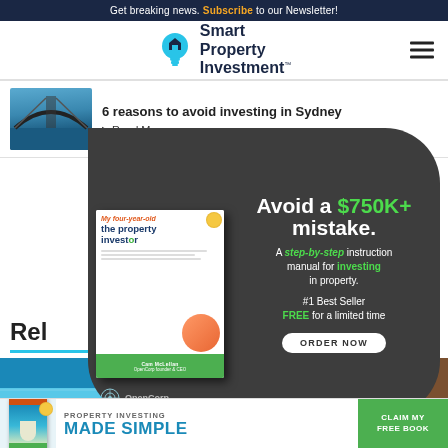Get breaking news. Subscribe to our Newsletter!
[Figure (logo): Smart Property Investment logo with lightbulb icon]
6 reasons to avoid investing in Sydney
Read More
[Figure (infographic): OpenCorp advertisement: Avoid a $750K+ mistake. A step-by-step instruction manual for investing in property. #1 Best Seller FREE for a limited time. ORDER NOW. Book: My four-year-old the property investor.]
Rel
[Figure (photo): Beach/coastal aerial photo]
[Figure (photo): Court/parliament interior photo]
[Figure (infographic): Bottom banner ad: Property Investing Made Simple. Claim My Free Book.]